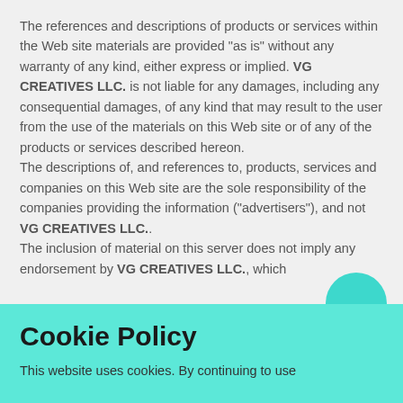The references and descriptions of products or services within the Web site materials are provided "as is" without any warranty of any kind, either express or implied. VG CREATIVES LLC. is not liable for any damages, including any consequential damages, of any kind that may result to the user from the use of the materials on this Web site or of any of the products or services described hereon.
The descriptions of, and references to, products, services and companies on this Web site are the sole responsibility of the companies providing the information ("advertisers"), and not VG CREATIVES LLC..
The inclusion of material on this server does not imply any endorsement by VG CREATIVES LLC., which
Cookie Policy
This website uses cookies. By continuing to use